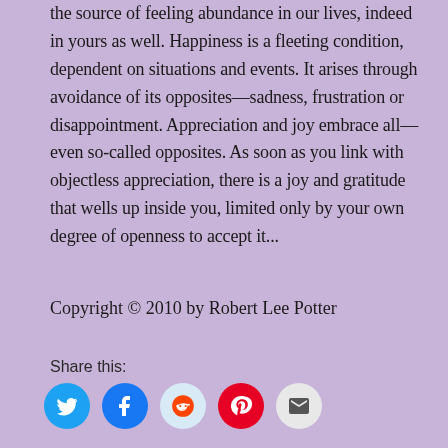the source of feeling abundance in our lives, indeed in yours as well. Happiness is a fleeting condition, dependent on situations and events. It arises through avoidance of its opposites—sadness, frustration or disappointment. Appreciation and joy embrace all—even so-called opposites. As soon as you link with objectless appreciation, there is a joy and gratitude that wells up inside you, limited only by your own degree of openness to accept it...
Copyright © 2010 by Robert Lee Potter
Share this:
[Figure (infographic): Row of five social media icon buttons: Twitter (blue), Facebook (blue), Reddit (light blue), Pinterest (red), Email (light gray)]